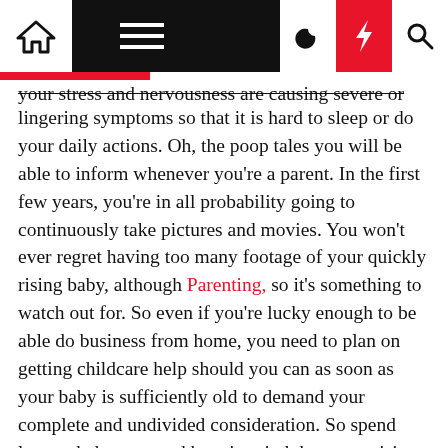[Navigation bar with home, menu, dark mode, lightning bolt, search icons]
your stress and nervousness are causing severe or lingering symptoms so that it is hard to sleep or do your daily actions. Oh, the poop tales you will be able to inform whenever you're a parent. In the first few years, you're in all probability going to continuously take pictures and movies. You won't ever regret having too many footage of your quickly rising baby, although Parenting, so it's something to watch out for. So even if you're lucky enough to be able do business from home, you need to plan on getting childcare help should you can as soon as your baby is sufficiently old to demand your complete and undivided consideration. So spend less on baby gear and bear in mind these surprising prices that basically add up. If I may do it over once more, I most likely would've purchased solely on-sale or used garments, enough to last two weeks of